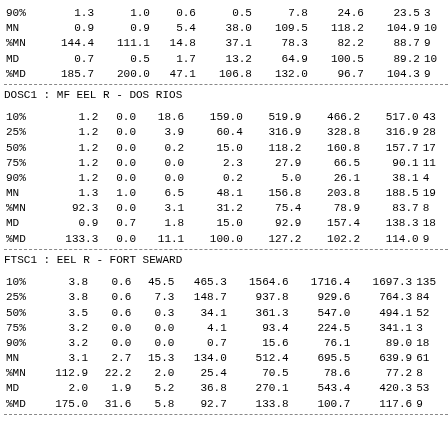| 90% | 1.3 | 1.0 | 0.6 | 0.5 | 7.8 | 24.6 | 23.5 | 3 |
| MN | 0.9 | 0.9 | 5.4 | 38.0 | 109.5 | 118.2 | 104.9 | 10 |
| %MN | 144.4 | 111.1 | 14.8 | 37.1 | 78.3 | 82.2 | 88.7 | 9 |
| MD | 0.7 | 0.5 | 1.7 | 13.2 | 64.9 | 100.5 | 89.2 | 10 |
| %MD | 185.7 | 200.0 | 47.1 | 106.8 | 132.0 | 96.7 | 104.3 | 9 |
DOSC1 : MF EEL R - DOS RIOS
| 10% | 1.2 | 0.0 | 18.6 | 159.0 | 519.9 | 466.2 | 517.0 | 43 |
| 25% | 1.2 | 0.0 | 3.9 | 60.4 | 316.9 | 328.8 | 316.9 | 28 |
| 50% | 1.2 | 0.0 | 0.2 | 15.0 | 118.2 | 160.8 | 157.7 | 17 |
| 75% | 1.2 | 0.0 | 0.0 | 2.3 | 27.9 | 66.5 | 90.1 | 11 |
| 90% | 1.2 | 0.0 | 0.0 | 0.2 | 5.0 | 26.1 | 38.1 | 4 |
| MN | 1.3 | 1.0 | 6.5 | 48.1 | 156.8 | 203.8 | 188.5 | 19 |
| %MN | 92.3 | 0.0 | 3.1 | 31.2 | 75.4 | 78.9 | 83.7 | 8 |
| MD | 0.9 | 0.7 | 1.8 | 15.0 | 92.9 | 157.4 | 138.3 | 18 |
| %MD | 133.3 | 0.0 | 11.1 | 100.0 | 127.2 | 102.2 | 114.0 | 9 |
FTSC1 : EEL R - FORT SEWARD
| 10% | 3.8 | 0.6 | 45.5 | 465.3 | 1564.6 | 1716.4 | 1697.3 | 135 |
| 25% | 3.8 | 0.6 | 7.3 | 148.7 | 937.8 | 929.6 | 764.3 | 84 |
| 50% | 3.5 | 0.6 | 0.3 | 34.1 | 361.3 | 547.0 | 494.1 | 52 |
| 75% | 3.2 | 0.0 | 0.0 | 4.1 | 93.4 | 224.5 | 341.1 | 3 |
| 90% | 3.2 | 0.0 | 0.0 | 0.7 | 15.6 | 76.1 | 89.0 | 18 |
| MN | 3.1 | 2.7 | 15.3 | 134.0 | 512.4 | 695.5 | 639.9 | 61 |
| %MN | 112.9 | 22.2 | 2.0 | 25.4 | 70.5 | 78.6 | 77.2 | 8 |
| MD | 2.0 | 1.9 | 5.2 | 36.8 | 270.1 | 543.4 | 420.3 | 53 |
| %MD | 175.0 | 31.6 | 5.8 | 92.7 | 133.8 | 100.7 | 117.6 | 9 |